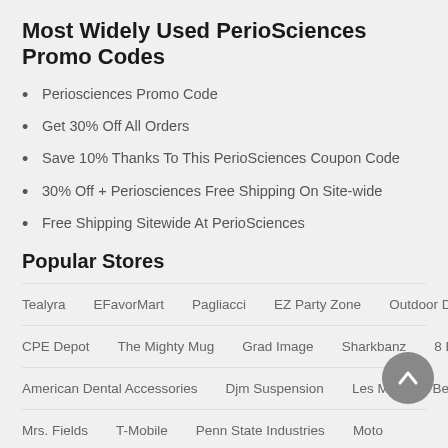Most Widely Used PerioSciences Promo Codes
Periosciences Promo Code
Get 30% Off All Orders
Save 10% Thanks To This PerioSciences Coupon Code
30% Off + Periosciences Free Shipping On Site-wide
Free Shipping Sitewide At PerioSciences
Popular Stores
Tealyra   EFavorMart   Pagliacci   EZ Party Zone   Outdoor DIVAS
CPE Depot   The Mighty Mug   Grad Image   Sharkbanz   8 Ball
American Dental Accessories   Djm Suspension   Les Mills   Bettys
Mrs. Fields   T-Mobile   Penn State Industries   Moto